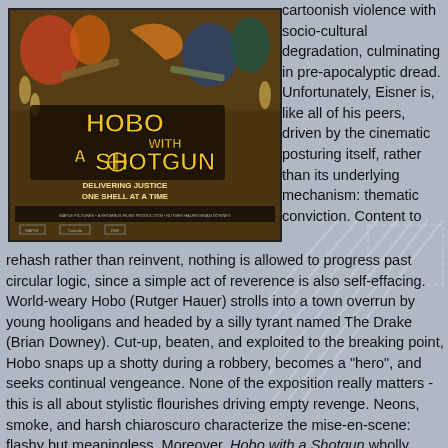[Figure (photo): Movie poster for 'Hobo with a Shotgun' showing the title in large yellow letters over a dark illustrated background with characters, tagline 'DELIVERING JUSTICE ONE SHELL AT A TIME']
cartoonish violence with socio-cultural degradation, culminating in pre-apocalyptic dread. Unfortunately, Eisner is, like all of his peers, driven by the cinematic posturing itself, rather than its underlying mechanism: thematic conviction. Content to rehash rather than reinvent, nothing is allowed to progress past circular logic, since a simple act of reverence is also self-effacing. World-weary Hobo (Rutger Hauer) strolls into a town overrun by young hooligans and headed by a silly tyrant named The Drake (Brian Downey). Cut-up, beaten, and exploited to the breaking point, Hobo snaps up a shotty during a robbery, becomes a "hero", and seeks continual vengeance. None of the exposition really matters - this is all about stylistic flourishes driving empty revenge. Neons, smoke, and harsh chiaroscuro characterize the mise-en-scene: flashy but meaningless. Moreover, Hobo with a Shotgun wholly misunderstands the vigilante ethos, rooting